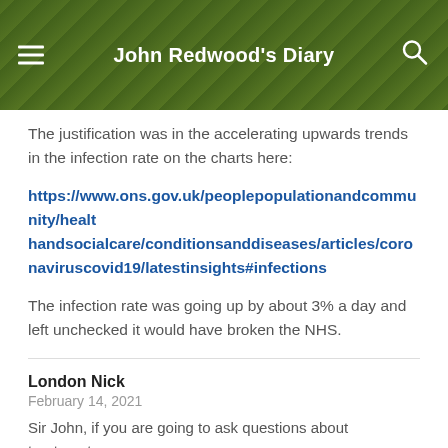John Redwood's Diary
The justification was in the accelerating upwards trends in the infection rate on the charts here:
https://www.ons.gov.uk/peoplepopulationandcommunity/healthandsocialcare/conditionsanddiseases/articles/coronaviruscovid19/latestinsights#infections
The infection rate was going up by about 3% a day and left unchecked it would have broken the NHS.
London Nick
February 14, 2021
Sir John, if you are going to ask questions about treatments